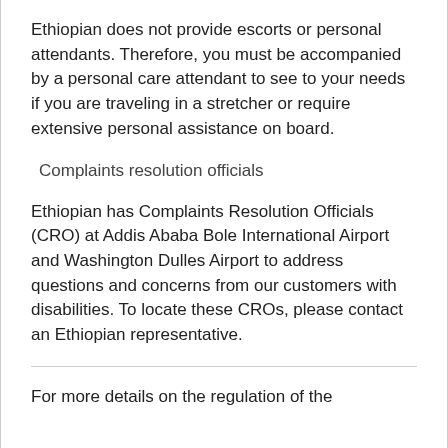Ethiopian does not provide escorts or personal attendants. Therefore, you must be accompanied by a personal care attendant to see to your needs if you are traveling in a stretcher or require extensive personal assistance on board.
Complaints resolution officials
Ethiopian has Complaints Resolution Officials (CRO) at Addis Ababa Bole International Airport and Washington Dulles Airport to address questions and concerns from our customers with disabilities. To locate these CROs, please contact an Ethiopian representative.
For more details on the regulation of the